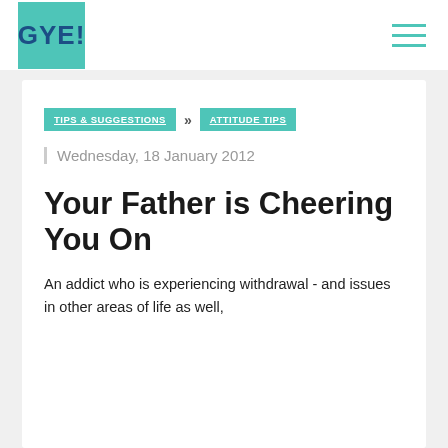[Figure (logo): GYE! logo — teal/turquoise square with dark blue bold text reading GYE!]
GYE!
TIPS & SUGGESTIONS » ATTITUDE TIPS
Wednesday, 18 January 2012
Your Father is Cheering You On
An addict who is experiencing withdrawal - and issues in other areas of life as well,